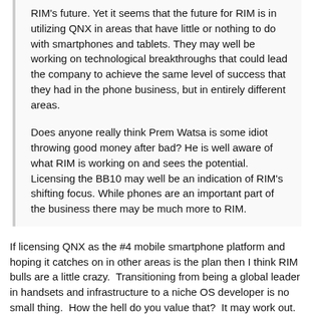RIM's future. Yet it seems that the future for RIM is in utilizing QNX in areas that have little or nothing to do with smartphones and tablets. They may well be working on technological breakthroughs that could lead the company to achieve the same level of success that they had in the phone business, but in entirely different areas.
Does anyone really think Prem Watsa is some idiot throwing good money after bad? He is well aware of what RIM is working on and sees the potential. Licensing the BB10 may well be an indication of RIM's shifting focus. While phones are an important part of the business there may be much more to RIM.
If licensing QNX as the #4 mobile smartphone platform and hoping it catches on in other areas is the plan then I think RIM bulls are a little crazy.  Transitioning from being a global leader in handsets and infrastructure to a niche OS developer is no small thing.  How the hell do you value that?  It may work out.  But, how to you know what the addressable market is or what kind of license fees you might be able to demand?  I'd guess they'd still be competing with android in that market among other things.